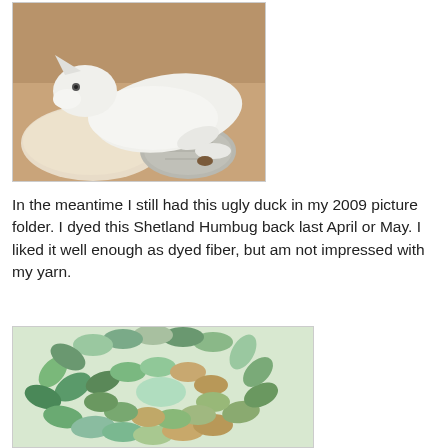[Figure (photo): A white dog curled up sleeping in a cardboard box with some fabric/knitting items]
In the meantime I still had this ugly duck in my 2009 picture folder. I dyed this Shetland Humbug back last April or May. I liked it well enough as dyed fiber, but am not impressed with my yarn.
[Figure (photo): A coil of hand-dyed Shetland Humbug fiber/roving in green and brown tones]